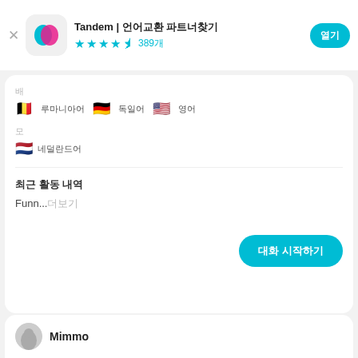Tandem | 언어교환 파트너 ★★★★☆ 389개
배우는 언어
🇧🇪 루마니아어  🇩🇪 독일어  🇺🇸 영어
모국어
🇳🇱 네덜란드어
최근 활동 내역
Funn...더보기
대화 시작하기
Mimmo